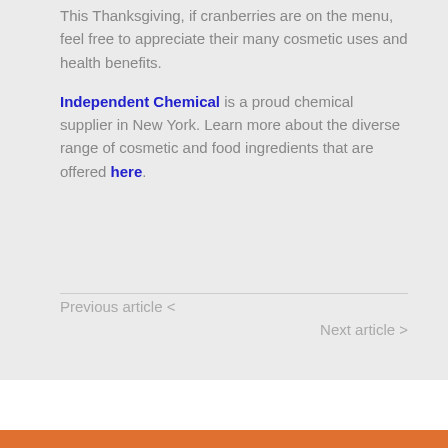This Thanksgiving, if cranberries are on the menu, feel free to appreciate their many cosmetic uses and health benefits.
Independent Chemical is a proud chemical supplier in New York. Learn more about the diverse range of cosmetic and food ingredients that are offered here.
Previous article <
Next article >